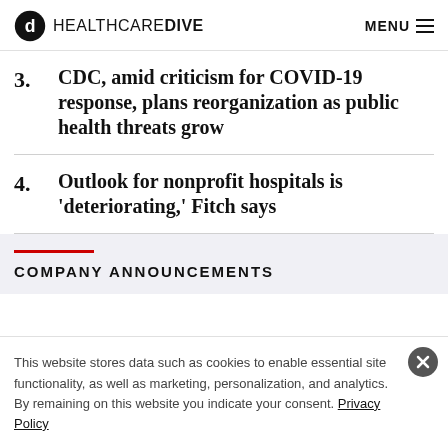HEALTHCARE DIVE | MENU
CDC, amid criticism for COVID-19 response, plans reorganization as public health threats grow
4. Outlook for nonprofit hospitals is 'deteriorating,' Fitch says
COMPANY ANNOUNCEMENTS
This website stores data such as cookies to enable essential site functionality, as well as marketing, personalization, and analytics. By remaining on this website you indicate your consent. Privacy Policy